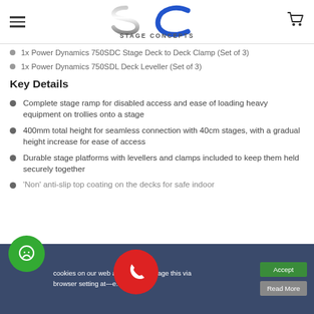Stage Concepts
1x Power Dynamics 750SDC Stage Deck to Deck Clamp (Set of 3)
1x Power Dynamics 750SDL Deck Leveller (Set of 3)
Key Details
Complete stage ramp for disabled access and ease of loading heavy equipment on trollies onto a stage
400mm total height for seamless connection with 40cm stages, with a gradual height increase for ease of access
Durable stage platforms with levellers and clamps included to keep them held securely together
'Non' anti-slip top coating on the decks for safe indoor…
cookies on our web are free to manage this via browser setting at…